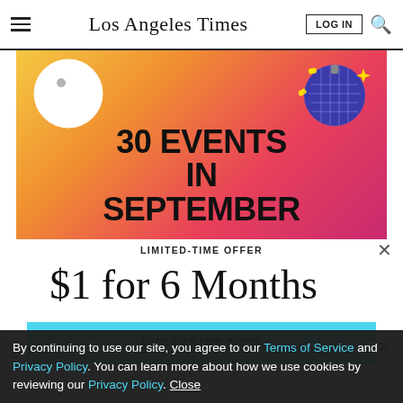Los Angeles Times | LOG IN | Search
[Figure (illustration): Advertisement banner with gradient background (yellow to pink/magenta), beach ball on left, disco ball on right, bold text reading '30 EVENTS IN SEPTEMBER']
LIMITED-TIME OFFER
$1 for 6 Months
SUBSCRIBE NOW
By continuing to use our site, you agree to our Terms of Service and Privacy Policy. You can learn more about how we use cookies by reviewing our Privacy Policy. Close